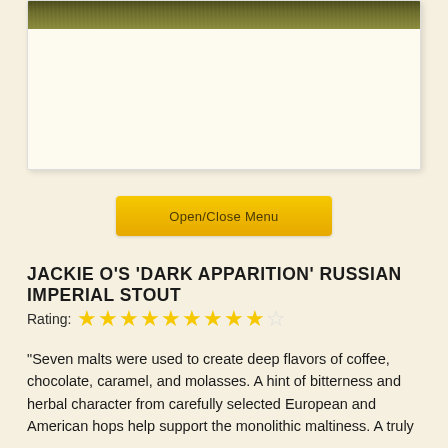[Figure (photo): Banner image area with dark olive/green textured header strip and cream/off-white content area below, contained in a card with subtle shadow]
Open/Close Menu
JACKIE O'S 'DARK APPARITION' RUSSIAN IMPERIAL STOUT
Rating: ★★★★★★★★★☆ (9 out of 10 stars)
“Seven malts were used to create deep flavors of coffee, chocolate, caramel, and molasses. A hint of bitterness and herbal character from carefully selected European and American hops help support the monolithic maltiness. A truly